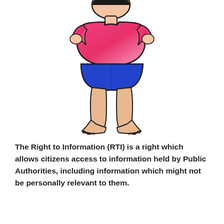[Figure (illustration): Cartoon illustration of a person standing, seen from behind, wearing a pink/magenta short-sleeve shirt and blue shorts, barefoot, with skin-toned legs and feet.]
The Right to Information (RTI) is a right which allows citizens access to information held by Public Authorities, including information which might not be personally relevant to them.